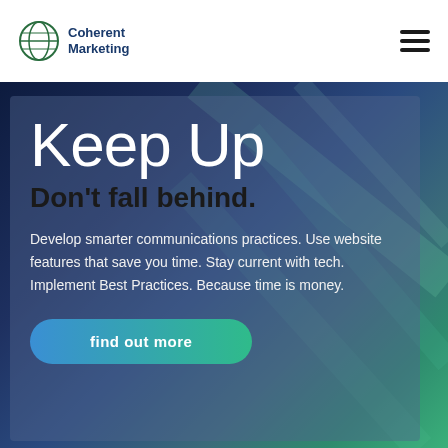[Figure (logo): Coherent Marketing globe logo with company name in dark blue]
Coherent Marketing
[Figure (illustration): Abstract background with dark blue to teal-green gradient and light streaks]
Keep Up
Don't fall behind.
Develop smarter communications practices. Use website features that save you time. Stay current with tech. Implement Best Practices. Because time is money.
find out more